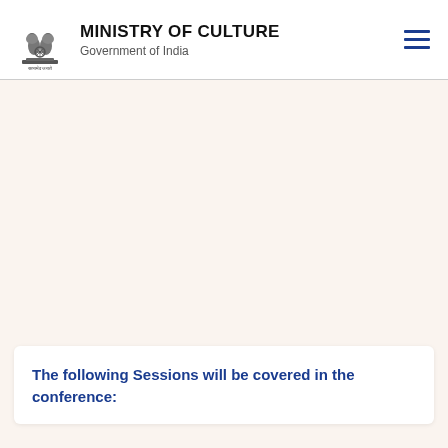MINISTRY OF CULTURE
Government of India
The following Sessions will be covered in the conference: